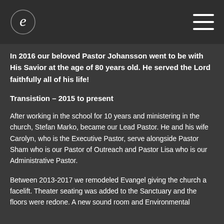Evangel Church logo and menu
In 2016 our beloved Pastor Johansson went to be with His Savior at the age of 80 years old. He served the Lord faithfully all of his life!
Transistion – 2015 to present
After working in the school for 10 years and ministering in the church, Stefan Marko, became our Lead Pastor. He and his wife Carolyn, who is the Executive Pastor, serve alongside Pastor Sham who is our Pastor of Outreach and Pastor Lisa who is our Administrative Pastor.
Between 2013-2017 we remodeled Evangel giving the church a facelift. Theater seating was added to the Sanctuary and the floors were redone. A new sound room and Environmental